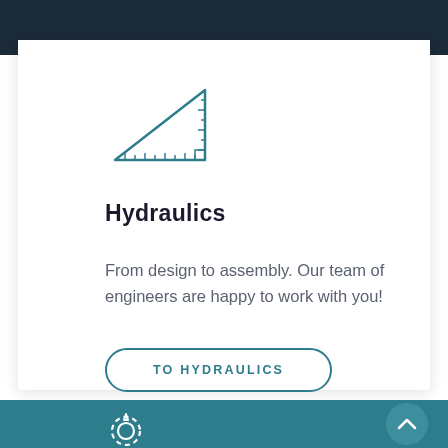[Figure (illustration): Teal/dark teal outline icon of a drafting set square / triangle ruler with measurement marks along the edges]
Hydraulics
From design to assembly. Our team of engineers are happy to work with you!
TO HYDRAULICS
[Figure (illustration): Teal gear/cog icon at bottom of page in teal section]